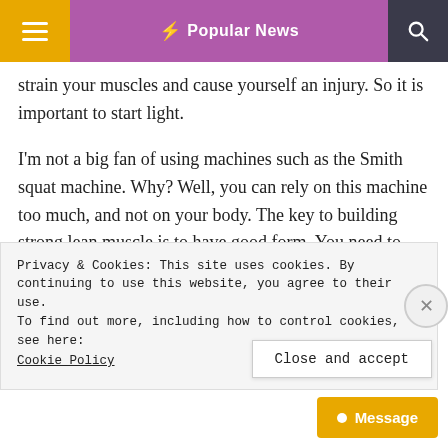≡  ⚡ Popular News  🔍
strain your muscles and cause yourself an injury. So it is important to start light.
I'm not a big fan of using machines such as the Smith squat machine. Why? Well, you can rely on this machine too much, and not on your body. The key to building strong lean muscle is to have good form. You need to have a good posture, use the right squatting technique, and use your core and legs correctly. A machine can
Privacy & Cookies: This site uses cookies. By continuing to use this website, you agree to their use.
To find out more, including how to control cookies, see here:
Cookie Policy
Close and accept
● Message